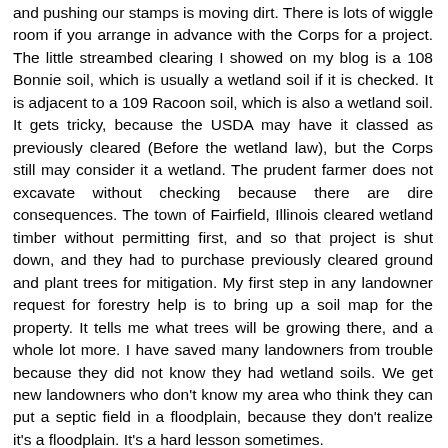and pushing our stamps is moving dirt. There is lots of wiggle room if you arrange in advance with the Corps for a project. The little streambed clearing I showed on my blog is a 108 Bonnie soil, which is usually a wetland soil if it is checked. It is adjacent to a 109 Racoon soil, which is also a wetland soil. It gets tricky, because the USDA may have it classed as previously cleared (Before the wetland law), but the Corps still may consider it a wetland. The prudent farmer does not excavate without checking because there are dire consequences. The town of Fairfield, Illinois cleared wetland timber without permitting first, and so that project is shut down, and they had to purchase previously cleared ground and plant trees for mitigation. My first step in any landowner request for forestry help is to bring up a soil map for the property. It tells me what trees will be growing there, and a whole lot more. I have saved many landowners from trouble because they did not know they had wetland soils. We get new landowners who don't know my area who think they can put a septic field in a floodplain, because they don't realize it's a floodplain. It's a hard lesson sometimes.
Reply